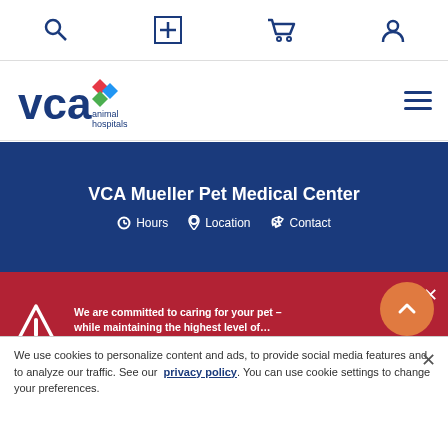[Figure (screenshot): VCA Animal Hospitals website screenshot showing top navigation bar with search, plus/medical, cart, and user account icons]
[Figure (logo): VCA Animal Hospitals logo with colorful diamond shapes]
VCA Mueller Pet Medical Center
Hours   Location   Contact
We are committed to caring for your pet – while maintaining the highest level of... Read More
We use cookies to personalize content and ads, to provide social media features and to analyze our traffic. See our privacy policy. You can use cookie settings to change your preferences.